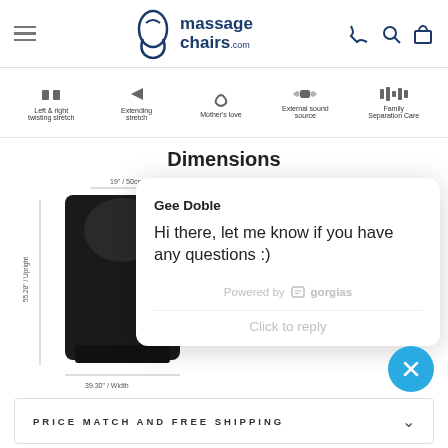[Figure (screenshot): massagechairs.com website header with hamburger menu, logo, and icons for phone, search, and cart]
[Figure (infographic): Feature icons row: Left & right twisting stretch, Extending stretch, Mother's love, External sound source, Family Separation Care]
Dimensions
[Figure (engineering-diagram): Chair dimension diagram showing a black massage chair with width and height measurements]
[Figure (screenshot): Chat popup from Gorgias with agent Gee Doble saying Hi there, let me know if you have any questions :)]
PRICE MATCH AND FREE SHIPPING